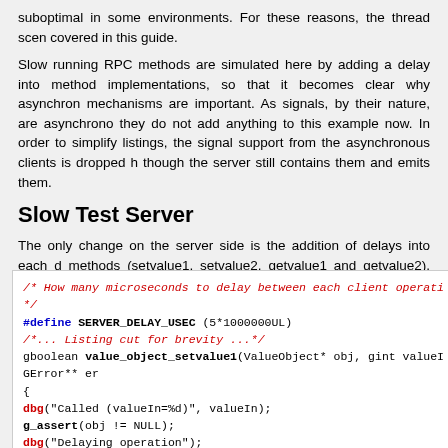suboptimal in some environments. For these reasons, the thread scen covered in this guide.
Slow running RPC methods are simulated here by adding a delay into method implementations, so that it becomes clear why asynchron mechanisms are important. As signals, by their nature, are asynchrono they do not add anything to this example now. In order to simplify listings, the signal support from the asynchronous clients is dropped h though the server still contains them and emits them.
Slow Test Server
The only change on the server side is the addition of delays into each d methods (setvalue1, setvalue2, getvalue1 and getvalue2). This delay is the start of each function as follows: glib-dbus-async/server.c
[Figure (screenshot): C code snippet showing SERVER_DELAY_USEC define and value_object_setvalue1 function with delay and assertions]